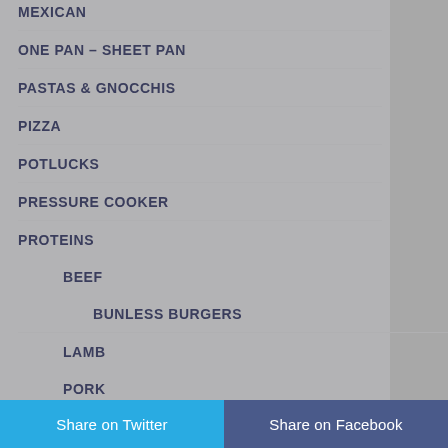MEXICAN
ONE PAN – SHEET PAN
PASTAS & GNOCCHIS
PIZZA
POTLUCKS
PRESSURE COOKER
PROTEINS
BEEF
BUNLESS BURGERS
LAMB
PORK
POULTRY
Share on Twitter  Share on Facebook